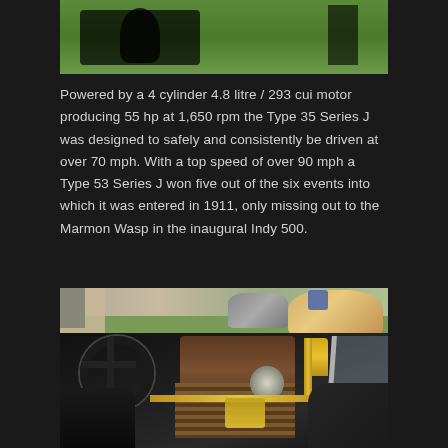[Figure (photo): Top portion of an outdoor scene showing grass and a shadowed object, appears to be the top of a vintage car display area with green grass background]
Powered by a 4 cylinder 4.8 litre / 293 cui motor producing 55 hp at 1,650 rpm the Type 35 Series J was designed to safely and consistently be driven at over 70 mph. With a top speed of over 90 mph a Type 53 Series J won five out of the six events into which it was entered in 1911, only missing out to the Marmon Wasp in the inaugural Indy 500.
[Figure (photo): Close-up photograph of a vintage/antique racing car engine compartment and cockpit area, showing a large black steering wheel on the left, brass and copper engine components in the center, a brass oil lamp, gauge instruments, radiator with louvers, and a fuel tank. People and grass are visible in the background.]